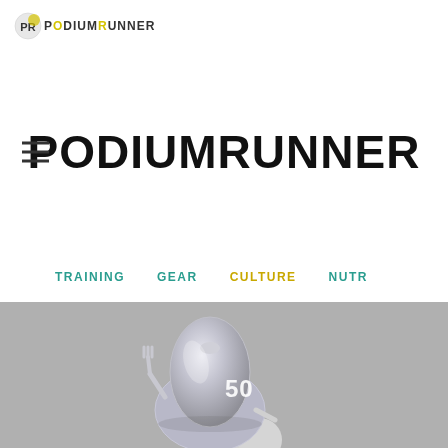PodiumRunner
PodiumRunner
TRAINING   GEAR   CULTURE   NUTR
[Figure (illustration): 3D rendered illustration of a cartoon figure carrying a large silver bell-shaped cloche with the number 50 on it and a fork in its hand, on a gray background]